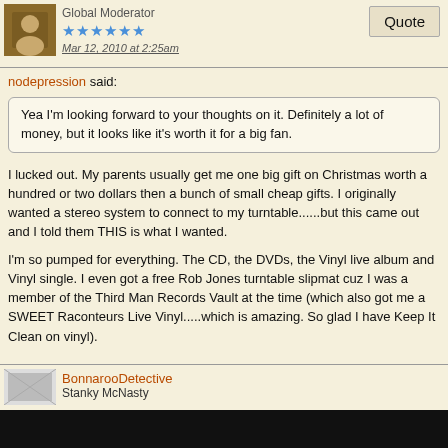Global Moderator
[Figure (photo): User avatar photo of a person]
★★★★★★
Mar 12, 2010 at 2:25am
Quote
nodepression said:
Yea I'm looking forward to your thoughts on it. Definitely a lot of money, but it looks like it's worth it for a big fan.
I lucked out. My parents usually get me one big gift on Christmas worth a hundred or two dollars then a bunch of small cheap gifts. I originally wanted a stereo system to connect to my turntable......but this came out and I told them THIS is what I wanted.

I'm so pumped for everything. The CD, the DVDs, the Vinyl live album and Vinyl single. I even got a free Rob Jones turntable slipmat cuz I was a member of the Third Man Records Vault at the time (which also got me a SWEET Raconteurs Live Vinyl.....which is amazing. So glad I have Keep It Clean on vinyl).
BonnarooDetective
Stanky McNasty